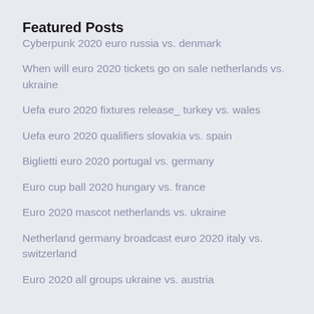Featured Posts
Cyberpunk 2020 euro russia vs. denmark
When will euro 2020 tickets go on sale netherlands vs. ukraine
Uefa euro 2020 fixtures release_ turkey vs. wales
Uefa euro 2020 qualifiers slovakia vs. spain
Biglietti euro 2020 portugal vs. germany
Euro cup ball 2020 hungary vs. france
Euro 2020 mascot netherlands vs. ukraine
Netherland germany broadcast euro 2020 italy vs. switzerland
Euro 2020 all groups ukraine vs. austria